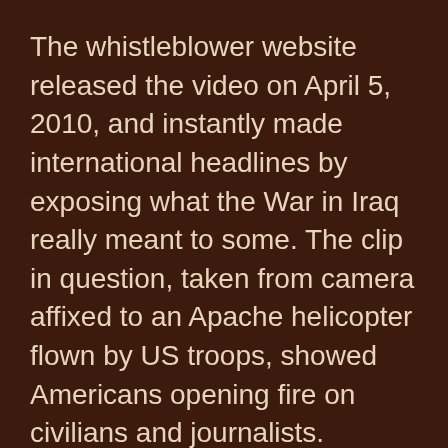The whistleblower website released the video on April 5, 2010, and instantly made international headlines by exposing what the War in Iraq really meant to some. The clip in question, taken from camera affixed to an Apache helicopter flown by US troops, showed Americans opening fire on civilians and journalists.
"That right there is obviously a camera dangling if you really pay attention," McCord says of one person caught on film. "That guy has